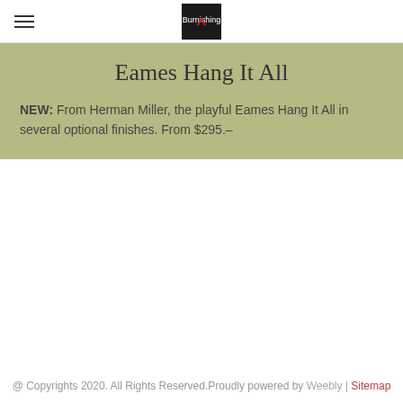[hamburger menu icon] [logo]
Eames Hang It All
NEW: From Herman Miller, the playful Eames Hang It All in several optional finishes. From $295.–
@ Copyrights 2020. All Rights Reserved.Proudly powered by Weebly | Sitemap